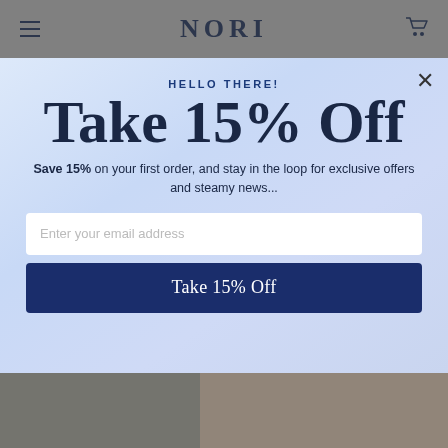NORI
HELLO THERE!
Take 15% Off
Save 15% on your first order, and stay in the loop for exclusive offers and steamy news...
Enter your email address
Take 15% Off